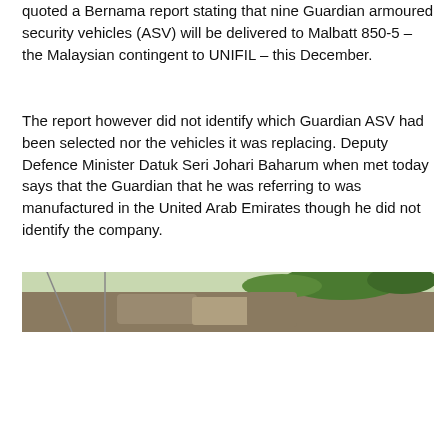quoted a Bernama report stating that nine Guardian armoured security vehicles (ASV) will be delivered to Malbatt 850-5 – the Malaysian contingent to UNIFIL – this December.
The report however did not identify which Guardian ASV had been selected nor the vehicles it was replacing. Deputy Defence Minister Datuk Seri Johari Baharum when met today says that the Guardian that he was referring to was manufactured in the United Arab Emirates though he did not identify the company.
[Figure (photo): Partial photo showing armoured vehicles or military equipment in a rocky/forested terrain, partially cut off at the top of the view.]